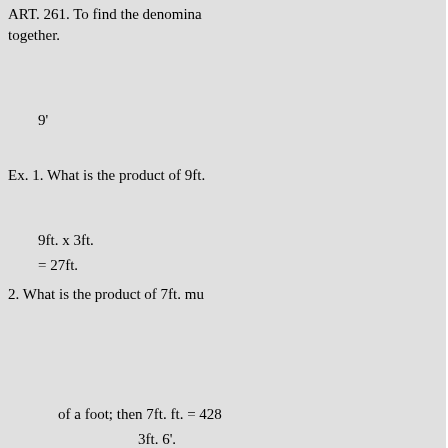ART. 261. To find the denomina together.
Ex. 1. What is the product of 9ft.
2. What is the product of 7ft. mu
of a foot; then 7ft. ft. = 428
12: —
3. What is the product of 5' mult